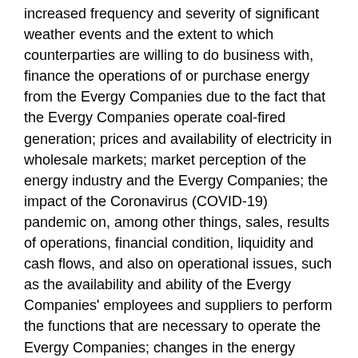increased frequency and severity of significant weather events and the extent to which counterparties are willing to do business with, finance the operations of or purchase energy from the Evergy Companies due to the fact that the Evergy Companies operate coal-fired generation; prices and availability of electricity in wholesale markets; market perception of the energy industry and the Evergy Companies; the impact of the Coronavirus (COVID-19) pandemic on, among other things, sales, results of operations, financial condition, liquidity and cash flows, and also on operational issues, such as the availability and ability of the Evergy Companies' employees and suppliers to perform the functions that are necessary to operate the Evergy Companies; changes in the energy trading markets in which the Evergy Companies participate, including retroactive repricing of transactions by regional transmission organizations (RTO) and independent system operators; financial market conditions and performance, including changes in interest rates and credit spreads and in availability and cost of capital and the effects on